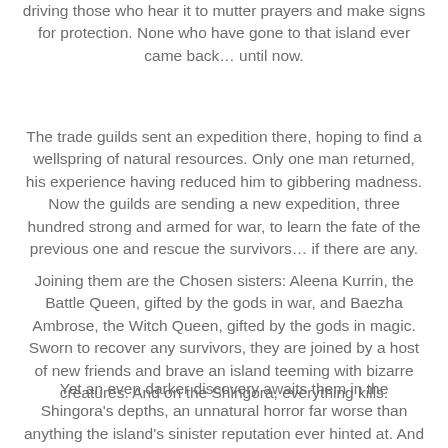driving those who hear it to mutter prayers and make signs for protection. None who have gone to that island ever came back… until now.
The trade guilds sent an expedition there, hoping to find a wellspring of natural resources. Only one man returned, his experience having reduced him to gibbering madness. Now the guilds are sending a new expedition, three hundred strong and armed for war, to learn the fate of the previous one and rescue the survivors… if there are any.
Joining them are the Chosen sisters: Aleena Kurrin, the Battle Queen, gifted by the gods in war, and Baezha Ambrose, the Witch Queen, gifted by the gods in magic. Sworn to recover any survivors, they are joined by a host of new friends and brave an island teeming with bizarre creatures. And on the Shingora, everything kills.
Yet an even darker discovery awaits them in the Shingora's depths, an unnatural horror far worse than anything the island's sinister reputation ever hinted at. And while immersed in all the island's perils, a traitor threatens the company from within. With treacherous enemies at their